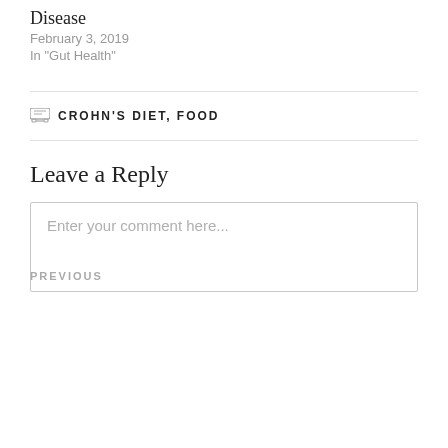Disease
February 3, 2019
In "Gut Health"
CROHN'S DIET, FOOD
Leave a Reply
Enter your comment here...
PREVIOUS